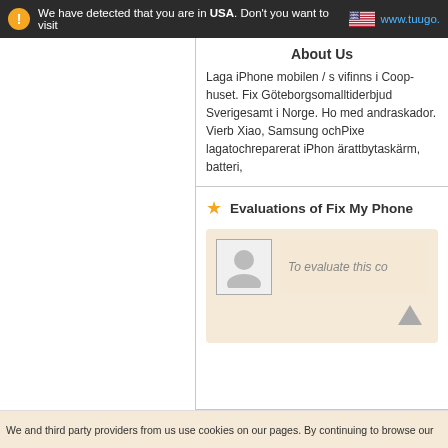We have detected that you are in USA. Don't you want to visit www.tuugo…
About Us
Laga iPhone mobilen / s vifinns i Coop-huset. Fix Göteborgsomalltiderbjud Sverigesamt i Norge. Ho med andraskador. Vierb Xiao, Samsung ochPixe lagatochreparerat iPhon ärattbytaskärm, batteri,
Evaluations of Fix My Phone
To evaluate this co
We and third party providers from us use cookies on our pages. By continuing to browse our